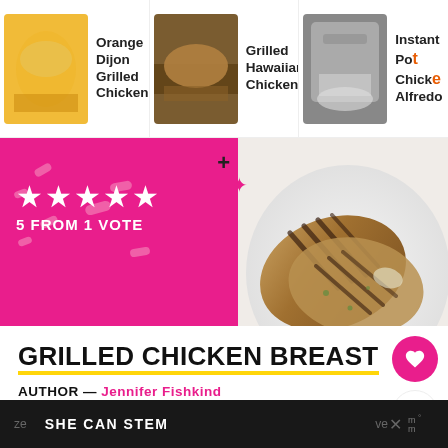[Figure (screenshot): Navigation bar with three recipe thumbnails: Orange Dijon Grilled Chicken, Grilled Hawaiian Chicken..., Instant Pot Chicken Alfredo]
[Figure (photo): Grilled chicken breast on a white plate with grill marks, overhead view on pink background with star rating overlay]
GRILLED CHICKEN BREAST
AUTHOR — Jennifer Fishkind
SERVES — 4
You can't go wrong with grilled chicken breast for dinner, and this recipe has a delicious sweet and
ze  SHE CAN STEM  ve